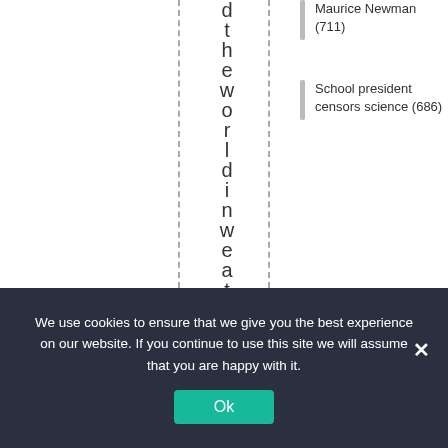d t h e w o r l d i n w e a t h e r
Maurice Newman (711)
School president censors science (686)
We use cookies to ensure that we give you the best experience on our website. If you continue to use this site we will assume that you are happy with it.